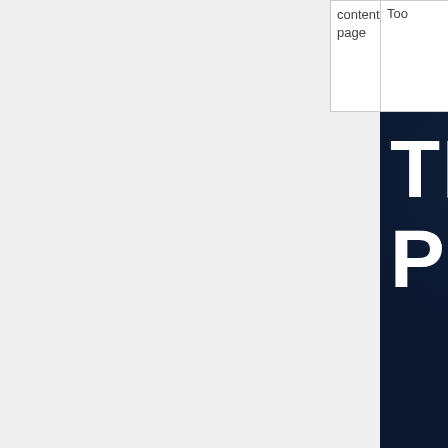|  | content page | Page image |
| --- | --- | --- |
|  | Too |  |
|  | Page image | [book cover image: TRANSCENDING POLITICS - A Technoprogressive Roadmap to a Comprehensively Better Future] |
[Figure (illustration): Book cover for 'Transcending Politics: A Technoprogressive Roadmap to a Comprehensively Better Future'. Dark blue/black background with large white bold text 'TRANSCEN...' and 'POLIT...' at top. Center shows a laptop with a globe on screen and a robotic hand holding a ballot or paper with subtitle text angled diagonally.]